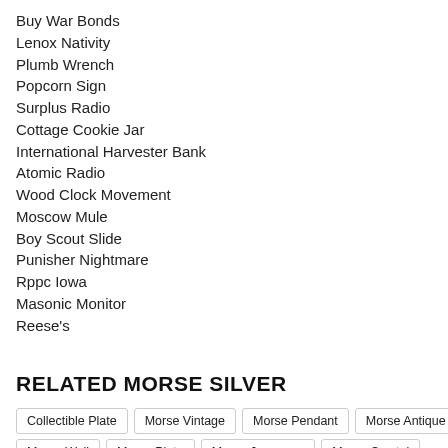Buy War Bonds
Lenox Nativity
Plumb Wrench
Popcorn Sign
Surplus Radio
Cottage Cookie Jar
International Harvester Bank
Atomic Radio
Wood Clock Movement
Moscow Mule
Boy Scout Slide
Punisher Nightmare
Rppc Iowa
Masonic Monitor
Reese's
RELATED MORSE SILVER
Collectible Plate
Morse Vintage
Morse Pendant
Morse Antique
Morse Wall
Morse Plate
Morse Japanese
Morse Crystal